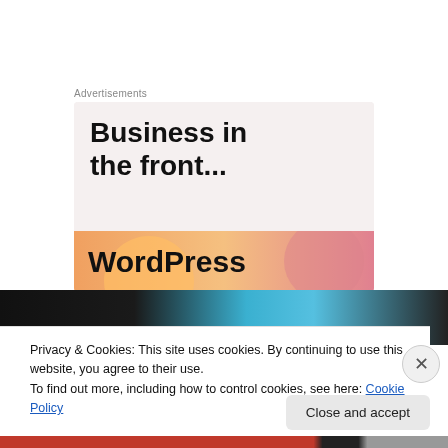Advertisements
[Figure (illustration): WordPress advertisement card with 'Business in the front...' heading on light background, and 'WordPress' text on orange-pink gradient with decorative circles]
[Figure (photo): Dark strip with blue and black tones, appears to be a cropped photo background]
Privacy & Cookies: This site uses cookies. By continuing to use this website, you agree to their use.
To find out more, including how to control cookies, see here: Cookie Policy
Close and accept